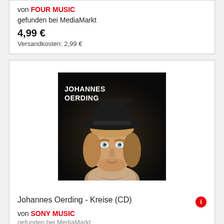von FOUR MUSIC
gefunden bei MediaMarkt
4,99 €
Versandkosten: 2,99 €
[Figure (photo): Album cover for Johannes Oerding - Kreise (CD). Black background with a man wearing a black hat, medium-length blonde hair, looking directly at camera. White bold text in upper-left reads 'JOHANNES OERDING'.]
Johannes Oerding - Kreise (CD)
von SONY MUSIC
gefunden bei MediaMarkt